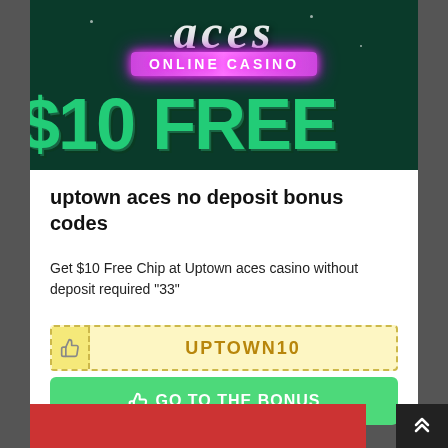[Figure (screenshot): Uptown Aces Online Casino banner showing '$10 FREE' promotional offer on dark green background with neon pink 'ONLINE CASINO' text]
uptown aces no deposit bonus codes
Get $10 Free Chip at Uptown aces casino without deposit required "33"
UPTOWN10
GO TO THE BONUS